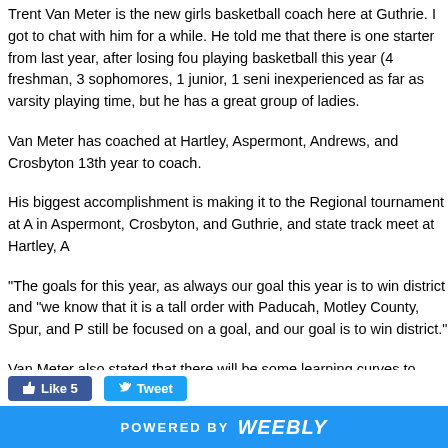Trent Van Meter is the new girls basketball coach here at Guthrie. I got to chat with him for a while. He told me that there is one starter from last year, after losing four starters. He has 9 girls playing basketball this year (4 freshman, 3 sophomores, 1 junior, 1 senior). The team is inexperienced as far as varsity playing time, but he has a great group of ladies.
Van Meter has coached at Hartley, Aspermont, Andrews, and Crosbyton. This will be his 13th year to coach.
His biggest accomplishment is making it to the Regional tournament at Aspermont, district titles in Aspermont, Crosbyton, and Guthrie, and state track meet at Hartley, A...
"The goals for this year, as always our goal this year is to win district and... "we know that it is a tall order with Paducah, Motley County, Spur, and P... still be focused on a goal, and our goal is to win district."
Van Meter also stated that there will be some learning curves to work th... but they will work through those curves and strive to succeed... TOGETH...
[Figure (screenshot): Social media buttons: blue Facebook Like button showing count 5, and blue Twitter Tweet button]
POWERED BY weebly